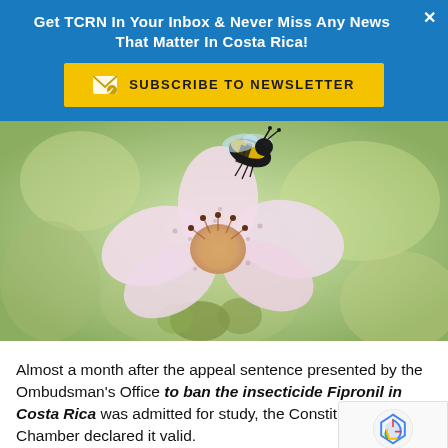Get TCRN In Your Inbox & Never Miss Any News That Matter In Costa Rica!
SUBSCRIBE TO NEWSLETTER
[Figure (photo): Close-up photograph of a bee on a pale pink flower blossom]
Almost a month after the appeal sentence presented by the Ombudsman's Office to ban the insecticide Fipronil in Costa Rica was admitted for study, the Constitutional Chamber declared it valid.
Language »
resent a resource came as a result of two